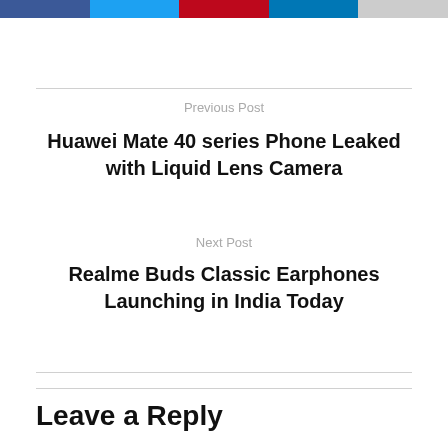[Figure (other): Social media share buttons: Facebook (dark blue), Twitter (light blue), Pinterest (red), LinkedIn (blue), one gray button]
Previous Post
Huawei Mate 40 series Phone Leaked with Liquid Lens Camera
Next Post
Realme Buds Classic Earphones Launching in India Today
Leave a Reply
Your email address will not be published. Required fields are marked *
Comment *